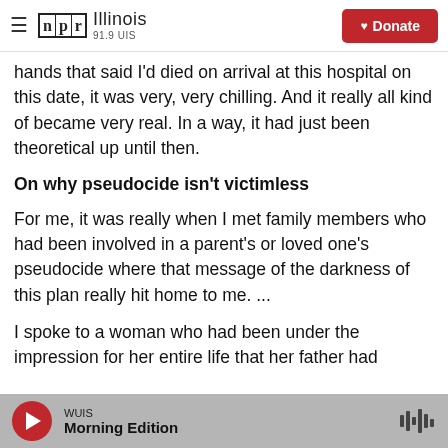NPR Illinois 91.9 UIS — Donate
hands that said I'd died on arrival at this hospital on this date, it was very, very chilling. And it really all kind of became very real. In a way, it had just been theoretical up until then.
On why pseudocide isn't victimless
For me, it was really when I met family members who had been involved in a parent's or loved one's pseudocide where that message of the darkness of this plan really hit home to me. ...
I spoke to a woman who had been under the impression for her entire life that her father had
WUIS — Morning Edition